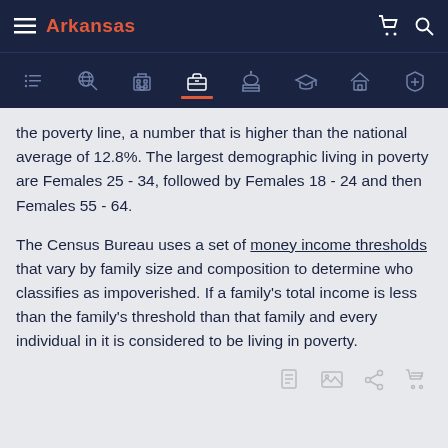Arkansas
the poverty line, a number that is higher than the national average of 12.8%. The largest demographic living in poverty are Females 25 - 34, followed by Females 18 - 24 and then Females 55 - 64.
The Census Bureau uses a set of money income thresholds that vary by family size and composition to determine who classifies as impoverished. If a family's total income is less than the family's threshold than that family and every individual in it is considered to be living in poverty.